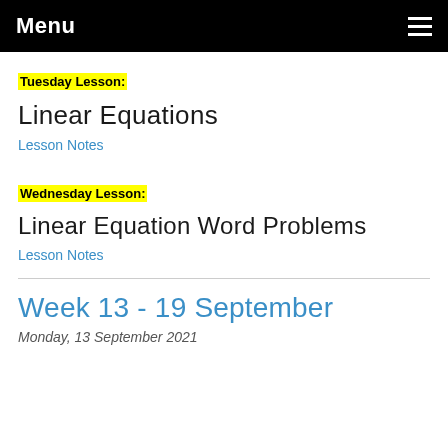Menu
Tuesday Lesson:
Linear Equations
Lesson Notes
Wednesday Lesson:
Linear Equation Word Problems
Lesson Notes
Week 13 - 19 September
Monday, 13 September 2021